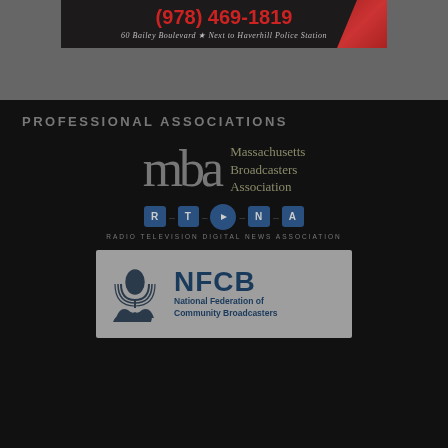[Figure (other): Advertisement showing phone number (978) 469-1819 and address 60 Bailey Boulevard, Next to Haverhill Police Station]
PROFESSIONAL ASSOCIATIONS
[Figure (logo): Massachusetts Broadcasters Association (mba) logo]
[Figure (logo): RTDNA - Radio Television Digital News Association logo]
[Figure (logo): NFCB - National Federation of Community Broadcasters logo]